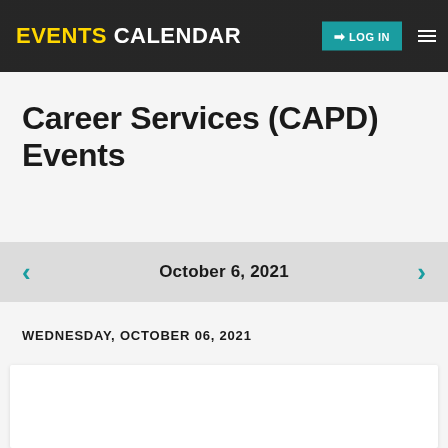EVENTS CALENDAR
Career Services (CAPD) Events
October 6, 2021
WEDNESDAY, OCTOBER 06, 2021